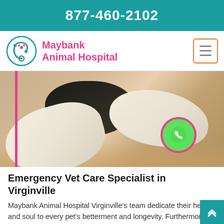877-460-2102
Maybank Animal Hospital
[Figure (photo): A veterinarian wearing white latex gloves examining a cat or small animal on a table. Close-up of gloved hands handling a dark-furred animal.]
Emergency Vet Care Specialist in Virginville
Maybank Animal Hospital Virginville's team dedicate their heart and soul to every pet's betterment and longevity. Furthermore, they have a long history of providing much needed Emergency Care To Pets. With years of experience, multiple skill sets in pet health, and a united...